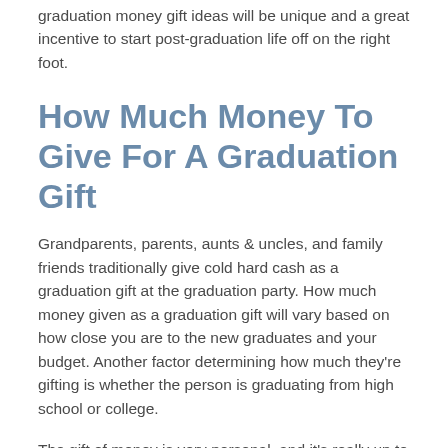graduation money gift ideas will be unique and a great incentive to start post-graduation life off on the right foot.
How Much Money To Give For A Graduation Gift
Grandparents, parents, aunts & uncles, and family friends traditionally give cold hard cash as a graduation gift at the graduation party. How much money given as a graduation gift will vary based on how close you are to the new graduates and your budget. Another factor determining how much they're gifting is whether the person is graduating from high school or college.
The gift of money is very personal, and it's really up to you as to how much money you give your favorite college or high school graduates.
How To Give Money For A